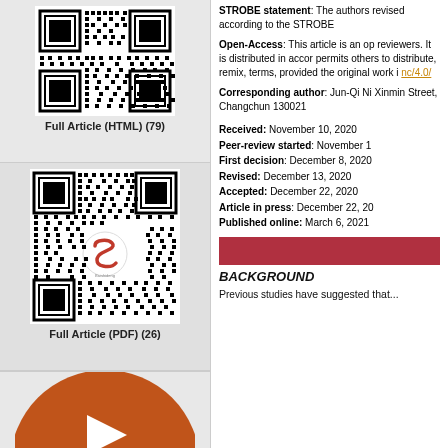[Figure (other): QR code for Full Article HTML]
Full Article (HTML) (79)
[Figure (other): QR code for Full Article PDF with Baishideng logo]
Full Article (PDF) (26)
[Figure (other): Orange play button icon (partial, bottom of left column)]
STROBE statement: The authors revised according to the STROBE
Open-Access: This article is an open-access article that was selected by an in-house editor and fully peer-reviewed by external reviewers. It is distributed in accordance with the Creative Commons Attribution NonCommercial (CC BY-NC 4.0) license, which permits others to distribute, remix, adapt, build upon this work non-commercially, and license their derivative works on different terms, provided the original work is properly cited and the use is non-commercial. See: https://creativecommons.org/licenses/by-nc/4.0/
Corresponding author: Jun-Qi Ni, Xinmin Street, Changchun 130021
Received: November 10, 2020
Peer-review started: November 10
First decision: December 8, 2020
Revised: December 13, 2020
Accepted: December 22, 2020
Article in press: December 22, 2020
Published online: March 6, 2021
BACKGROUND
Previous studies have suggested that...